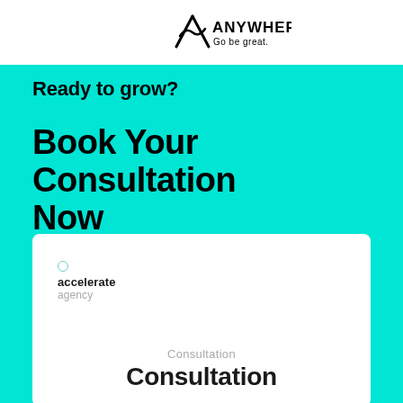[Figure (logo): ANYWHERE Go be great. logo with stylized A icon]
Ready to grow?
Book Your Consultation Now
[Figure (logo): accelerate agency logo with small teal circle icon]
Consultation
Consultation